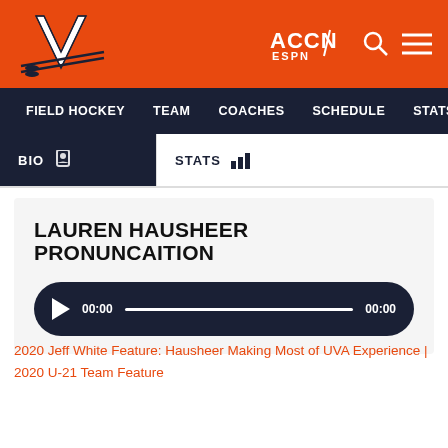[Figure (logo): University of Virginia (UVA) V sabers logo on orange header background with ACCN ESPN logo, search icon, and hamburger menu on the right]
FIELD HOCKEY   TEAM   COACHES   SCHEDULE   STATS   NEWS
BIO   STATS
LAUREN HAUSHEER PRONUNCAITION
[Figure (other): Audio player with play button, time display 00:00, progress bar, and end time 00:00 on dark navy background]
2020 Jeff White Feature: Hausheer Making Most of UVA Experience | 2020 U-21 Team Feature